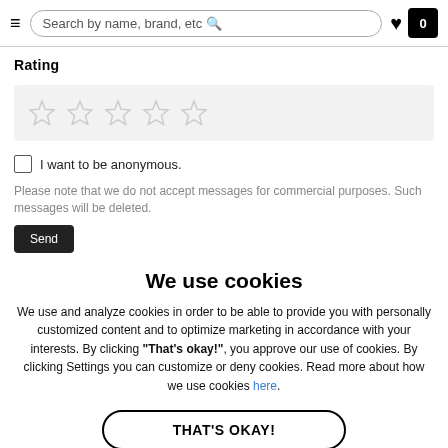Search by name, brand, etc
Rating
[Figure (other): Five empty/outlined star rating icons in a light grey box]
I want to be anonymous.
Please note that we do not accept messages for commercial purposes. Such messages will be deleted.
We use cookies
We use and analyze cookies in order to be able to provide you with personally customized content and to optimize marketing in accordance with your interests. By clicking "That's okay!", you approve our use of cookies. By clicking Settings you can customize or deny cookies. Read more about how we use cookies here.
THAT'S OKAY!